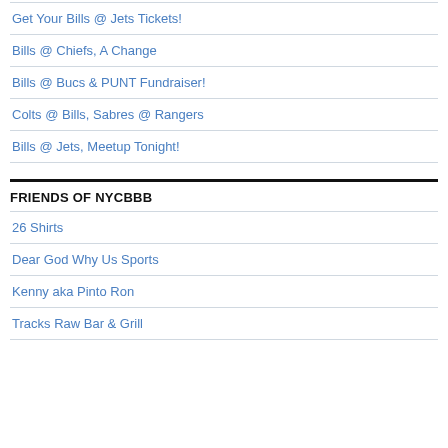Get Your Bills @ Jets Tickets!
Bills @ Chiefs, A Change
Bills @ Bucs & PUNT Fundraiser!
Colts @ Bills, Sabres @ Rangers
Bills @ Jets, Meetup Tonight!
FRIENDS OF NYCBBB
26 Shirts
Dear God Why Us Sports
Kenny aka Pinto Ron
Tracks Raw Bar & Grill